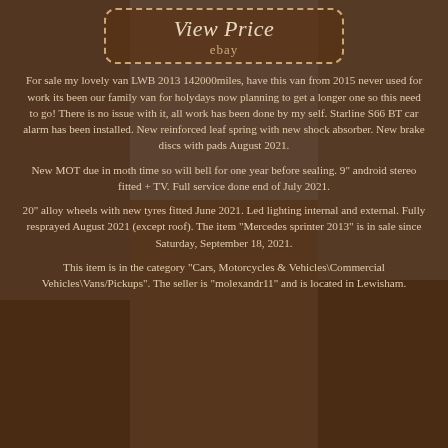[Figure (photo): Background photo of a building with parking lot, overlaid with dark brown semi-transparent overlay]
View Price
ebay
For sale my lovely van LWB 2013 142000miles, have this van from 2015 never used for work its been our family van for holydays now planning to get a longer one so this need to go! There is no issue with it, all work has been done by my self. Starline S66 BT car alarm has been installed. New reinforced leaf spring with new shock absorber. New brake discs with pads August 2021.
New MOT due in moth time so will bell for one year before sealing. 9" android stereo fitted + TV. Full service done end of July 2021.
20" alloy wheels with new tyres fitted June 2021. Led lighting internal and external. Fully resprayed August 2021 (except roof). The item "Mercedes sprinter 2013" is in sale since Saturday, September 18, 2021.
This item is in the category "Cars, Motorcycles & Vehicles\Commercial Vehicles\Vans/Pickups". The seller is "molexandr11" and is located in Lewisham.